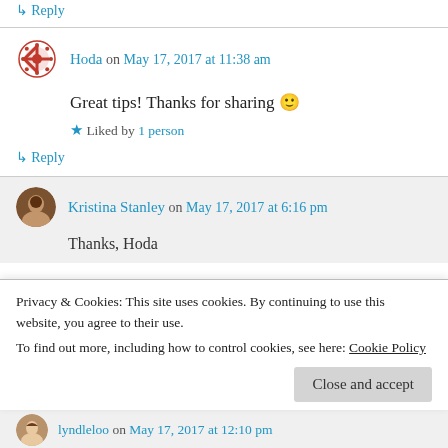↳ Reply
Hoda on May 17, 2017 at 11:38 am
Great tips! Thanks for sharing 🙂
★ Liked by 1 person
↳ Reply
Kristina Stanley on May 17, 2017 at 6:16 pm
Thanks, Hoda
Privacy & Cookies: This site uses cookies. By continuing to use this website, you agree to their use. To find out more, including how to control cookies, see here: Cookie Policy
Close and accept
lyndleloo on May 17, 2017 at 12:10 pm